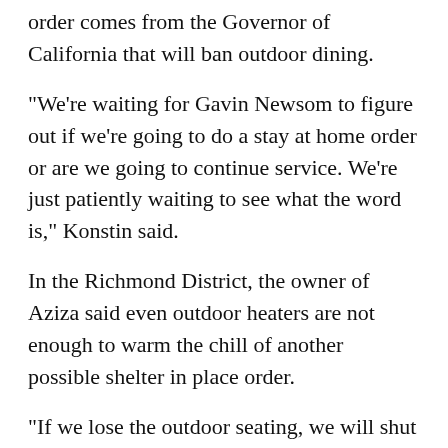order comes from the Governor of California that will ban outdoor dining.
"We're waiting for Gavin Newsom to figure out if we're going to do a stay at home order or are we going to continue service. We're just patiently waiting to see what the word is," Konstin said.
In the Richmond District, the owner of Aziza said even outdoor heaters are not enough to warm the chill of another possible shelter in place order.
"If we lose the outdoor seating, we will shut down until everybody can come back to indoor dining," owner Mourad Lahlou said.
He said the cost to keep his restaurant open for takeout only would more than double what it would